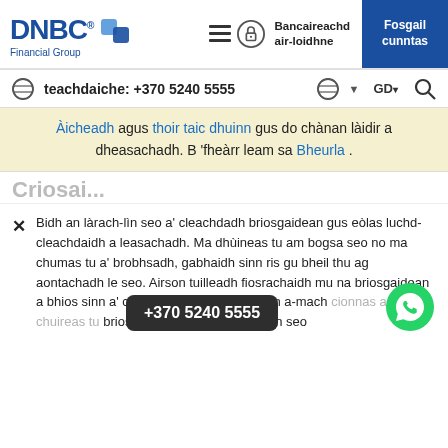DNBC Financial Group — Bancaireachd air-loidhne — Fosgail cunntas
teachdaiche: +370 5240 5555   GD▾
Àicheadh agus thoir taic dhuinn gus do chànan làidir a dheasachadh. B 'fheàrr leam sa Bheurla .
Criosai...
Bidh an làrach-lìn seo a' cleachdadh briosgaidean gus eòlas luchd-cleachdaidh a leasachadh. Ma dhùineas tu am bogsa seo no ma chumas tu a' brobhsadh, gabhaidh sinn ris gu bheil thu ag aontachadh le seo. Airson tuilleadh fiosrachaidh mu na briosgaidean a bhios sinn a' cleachdadh no gus faighinn a-mach cionnas a chuireas tu briosgaidean à comas, cliog an seo
+370 5240 5555